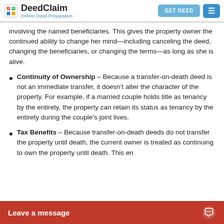DeedClaim – Online Deed Preparation
involving the named beneficiaries. This gives the property owner the continued ability to change her mind—including canceling the deed, changing the beneficiaries, or changing the terms—as long as she is alive.
Continuity of Ownership – Because a transfer-on-death deed is not an immediate transfer, it doesn't alter the character of the property. For example, if a married couple holds title as tenancy by the entirety, the property can retain its status as tenancy by the entirety during the couple's joint lives.
Tax Benefits – Because transfer-on-death deeds do not transfer the property until death, the current owner is treated as continuing to own the property until death. This en...
Leave a message